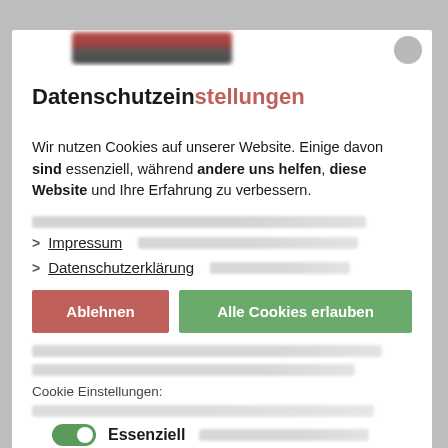Datenschutzeinstellungen
Wir nutzen Cookies auf unserer Website. Einige davon sind essenziell, während andere uns helfen, diese Website und Ihre Erfahrung zu verbessern.
> Impressum
> Datenschutzerklärung
Ablehnen
Alle Cookies erlauben
Cookie Einstellungen:
Essenziell
Essenzielle Cookies (Sitzungs-Cookies) ermöglichen grundlegende Funktionen und sind für die einwandfreie Funktion der Website erforderlich, betreiben aber kein Daten-Tracking.